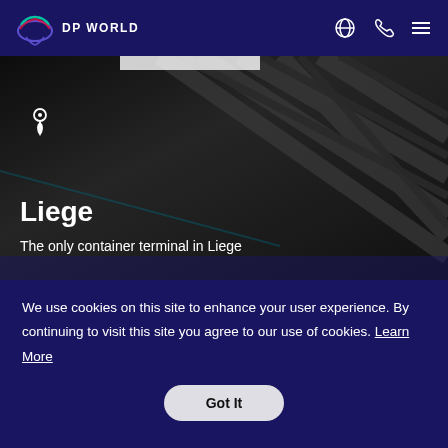DP WORLD
[Figure (screenshot): Hero image of container terminal infrastructure with diagonal steel lines and dark overlay. Shows location pin icon, bold white text 'Liege' and subtitle 'The only container terminal in Liege'.]
Liege
The only container terminal in Liege
We use cookies on this site to enhance your user experience. By continuing to visit this site you agree to our use of cookies. Learn More
Got It